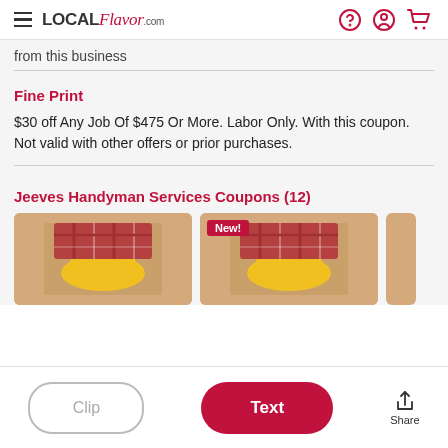LOCAL Flavor.com
from this business
Fine Print
$30 off Any Job Of $475 Or More. Labor Only. With this coupon. Not valid with other offers or prior purchases.
Jeeves Handyman Services Coupons (12)
[Figure (photo): Two coupon card thumbnails showing a handyman with yellow hard hat and plaid shirt. Second card has a 'New!' badge in red.]
Clip  Text  Share